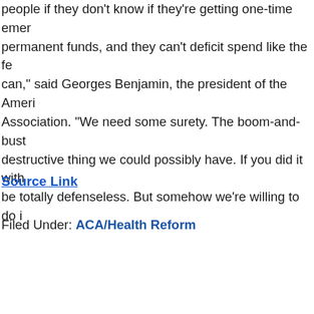people if they don't know if they're getting one-time emergency or permanent funds, and they can't deficit spend like the federal government can," said Georges Benjamin, the president of the American Public Health Association. "We need some surety. The boom-and-bust cycle is the most destructive thing we could possibly have. If you did it with defense, you'd be totally defenseless. But somehow we're willing to do it with health."
Source Link
Filed Under: ACA/Health Reform